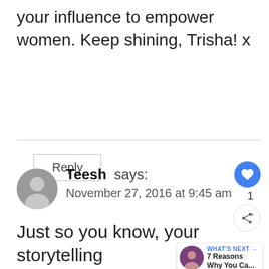your influence to empower women. Keep shining, Trisha! x
Reply
Teesh says:
November 27, 2016 at 9:45 am
Just so you know, your storytelling is precisely why I followed your